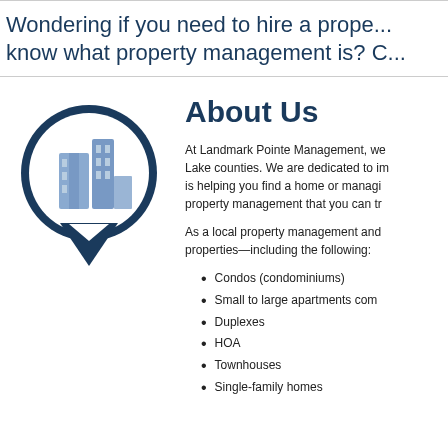Wondering if you need to hire a prope... know what property management is? C...
[Figure (logo): Circular dark navy blue location pin icon containing a light blue illustrated city skyline/buildings logo for Landmark Pointe Management]
About Us
At Landmark Pointe Management, we Lake counties. We are dedicated to im is helping you find a home or managi property management that you can tr
As a local property management and properties—including the following:
Condos (condominiums)
Small to large apartments com
Duplexes
HOA
Townhouses
Single-family homes